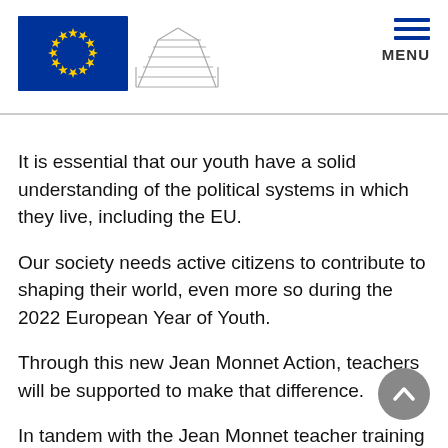European Commission logo and MENU navigation
It is essential that our youth have a solid understanding of the political systems in which they live, including the EU.
Our society needs active citizens to contribute to shaping their world, even more so during the 2022 European Year of Youth.
Through this new Jean Monnet Action, teachers will be supported to make that difference.
In tandem with the Jean Monnet teacher training Action, schools and networks of schools seeking to